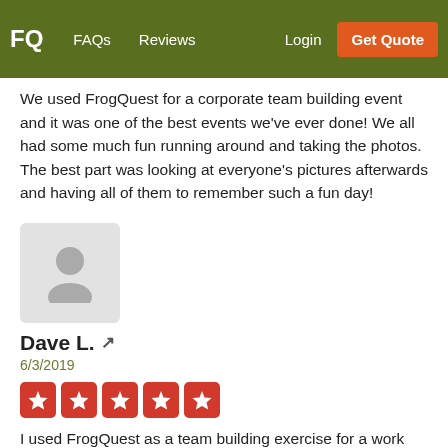FQ  FAQs  Reviews  Login  Get Quote
We used FrogQuest for a corporate team building event and it was one of the best events we've ever done! We all had some much fun running around and taking the photos. The best part was looking at everyone's pictures afterwards and having all of them to remember such a fun day!
[Figure (photo): Generic user avatar placeholder icon in a light grey rounded rectangle]
Dave L. 🔗
6/3/2019
[Figure (other): Five red star rating boxes (Yelp-style 5-star rating)]
I used FrogQuest as a team building exercise for a work event. We had 3 teams and ran around downtown Portland for 2 hours having a blast. Afterwards, many of my employees said it was their favorite part of the weekend. We even used the slideshow during our closing ceremonies the next day. We will definitely use them again! Highly